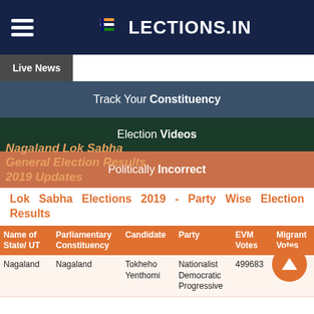[Figure (logo): Elections.IN website header with hamburger menu and logo on dark navy background]
Live News
Track Your Constituency
Election Videos
Politically Incorrect
Nagaland Lok Sabha General Election Results 2019 Updates
Lok Sabha Elections 2019 - Party Wise Election Results
| Name of State/ UT | Parliamentary Constituency | Candidate | Party | EVM Votes | Migrant Votes |
| --- | --- | --- | --- | --- | --- |
| Nagaland | Nagaland | Tokheho Yenthomi | Nationalist Democratic Progressive | 499683 | 0 |